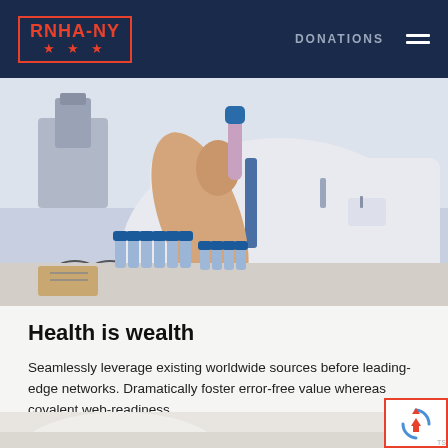RNHA-NY | DONATIONS
[Figure (photo): A medical professional in a white lab coat holding a test tube with a blue cap, with many blue-capped laboratory vials arranged on a surface in front of them. Medical/lab equipment visible in the background.]
Health is wealth
Seamlessly leverage existing worldwide sources before leading-edge networks. Dramatically foster error-free value whereas covalent web-readiness.
[Figure (photo): Partial view of a white surface/plate at the bottom of the page, appearing to be another medical/health related image cropped at the bottom edge.]